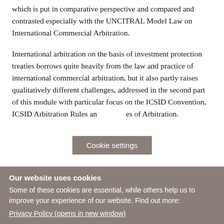which is put in comparative perspective and compared and contrasted especially with the UNCITRAL Model Law on International Commercial Arbitration.
International arbitration on the basis of investment protection treaties borrows quite heavily from the law and practice of international commercial arbitration, but it also partly raises qualitatively different challenges, addressed in the second part of this module with particular focus on the ICSID Convention, ICSID Arbitration Rules and other Rules of Arbitration.
Cookie settings
Our website uses cookies
Some of these cookies are essential, while others help us to improve your experience of our website. Find out more:
Privacy Policy (opens in new window)